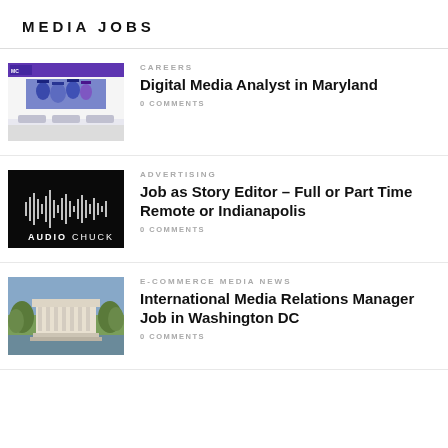MEDIA JOBS
[Figure (screenshot): University website screenshot showing graduating students in caps and gowns]
CAREERS
Digital Media Analyst in Maryland
0 COMMENTS
[Figure (logo): AudioChuck logo — white soundwave graphic and AUDIOCHUCK text on black background]
ADVERTISING
Job as Story Editor – Full or Part Time Remote or Indianapolis
0 COMMENTS
[Figure (photo): Aerial photo of the Lincoln Memorial in Washington DC surrounded by trees]
E-COMMERCE MEDIA NEWS
International Media Relations Manager Job in Washington DC
0 COMMENTS